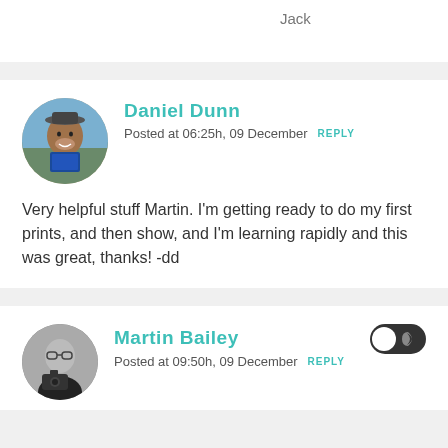Jack
Daniel Dunn
Posted at 06:25h, 09 December  REPLY
Very helpful stuff Martin. I'm getting ready to do my first prints, and then show, and I'm learning rapidly and this was great, thanks! -dd
Martin Bailey
Posted at 09:50h, 09 December  REPLY